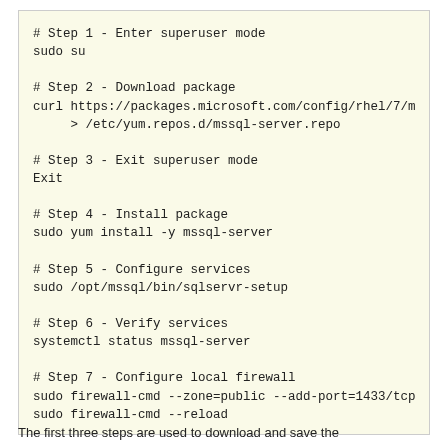[Figure (other): Code block with light yellow background showing shell commands for installing mssql-server in 7 steps: enter superuser mode, download package, exit superuser mode, install package, configure services, verify services, configure local firewall.]
The first three steps are used to download and save the